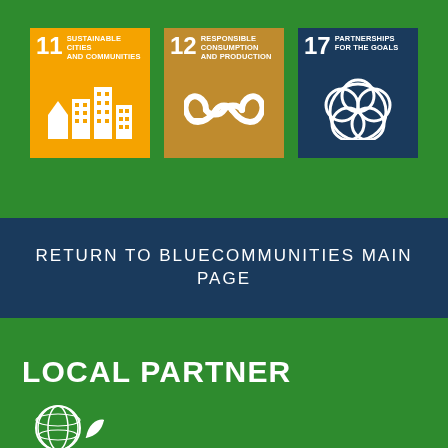[Figure (infographic): Three UN Sustainable Development Goal tiles: SDG 11 Sustainable Cities and Communities (orange), SDG 12 Responsible Consumption and Production (brown/gold), SDG 17 Partnerships for the Goals (dark navy blue)]
RETURN TO BLUECOMMUNITIES MAIN PAGE
LOCAL PARTNER
[Figure (logo): White globe/leaf logo icon on green background]